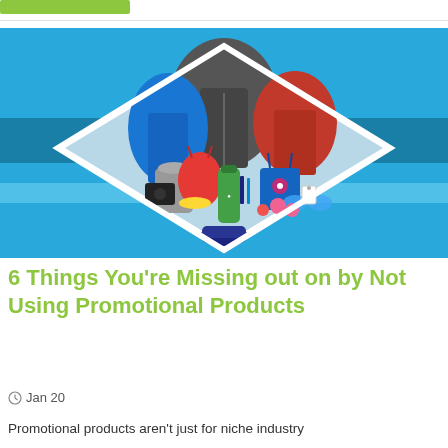[Figure (illustration): Green button/banner at top of page]
[Figure (photo): Promotional products hero image showing a diamond-shaped collage of branded merchandise including jackets, bags, water bottles, sunglasses, pens, and other promotional items on a blue background with horizontal stripe.]
6 Things You're Missing out on by Not Using Promotional Products
Jan 20
Promotional products aren't just for niche industry